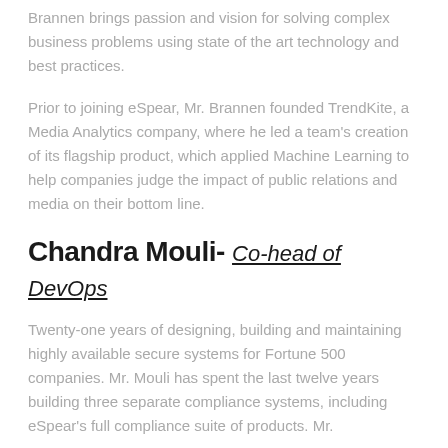Brannen brings passion and vision for solving complex business problems using state of the art technology and best practices.
Prior to joining eSpear, Mr. Brannen founded TrendKite, a Media Analytics company, where he led a team's creation of its flagship product, which applied Machine Learning to help companies judge the impact of public relations and media on their bottom line.
Chandra Mouli- Co-head of DevOps
Twenty-one years of designing, building and maintaining highly available secure systems for Fortune 500 companies. Mr. Mouli has spent the last twelve years building three separate compliance systems, including eSpear's full compliance suite of products. Mr.